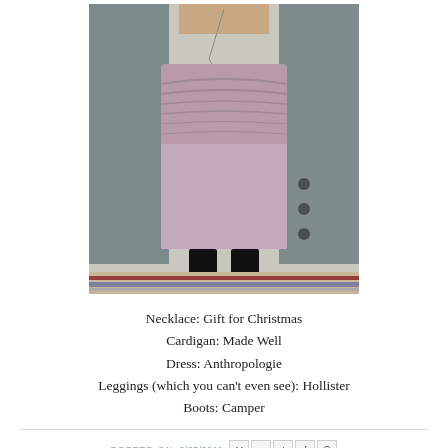[Figure (photo): Photo of a person wearing a gray cardigan over a lavender/mauve ruffled dress with black boots, standing on a striped carpet. The photo is cropped to show torso and lower body only.]
Necklace: Gift for Christmas
Cardigan: Made Well
Dress: Anthropologie
Leggings (which you can't even see): Hollister
Boots: Camper
POSTED ON 2/25/2011